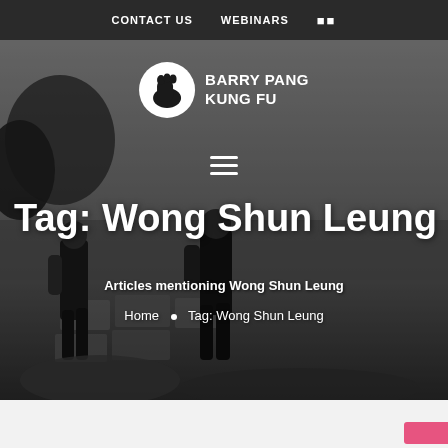CONTACT US   WEBINARS   □□
[Figure (photo): Black and white photo of two people walking on stone path near water with trees in background]
BARRY PANG KUNG FU
Tag: Wong Shun Leung
Articles mentioning Wong Shun Leung
Home • Tag: Wong Shun Leung